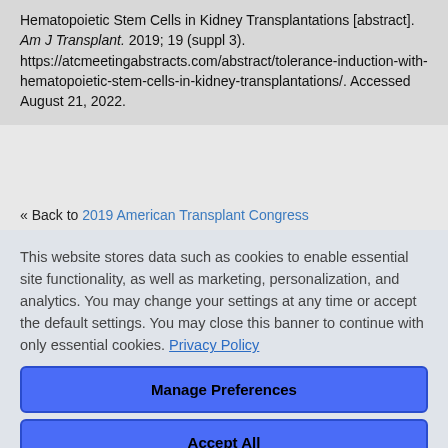Hematopoietic Stem Cells in Kidney Transplantations [abstract]. Am J Transplant. 2019; 19 (suppl 3). https://atcmeetingabstracts.com/abstract/tolerance-induction-with-hematopoietic-stem-cells-in-kidney-transplantations/. Accessed August 21, 2022.
« Back to 2019 American Transplant Congress
This website stores data such as cookies to enable essential site functionality, as well as marketing, personalization, and analytics. You may change your settings at any time or accept the default settings. You may close this banner to continue with only essential cookies. Privacy Policy
Manage Preferences
Accept All
Reject All